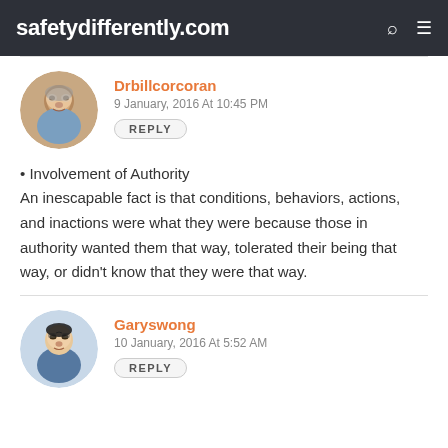safetydifferently.com
Drbillcorcoran
9 January, 2016 At 10:45 PM
REPLY
• Involvement of Authority
An inescapable fact is that conditions, behaviors, actions, and inactions were what they were because those in authority wanted them that way, tolerated their being that way, or didn't know that they were that way.
Garyswong
10 January, 2016 At 5:52 AM
REPLY